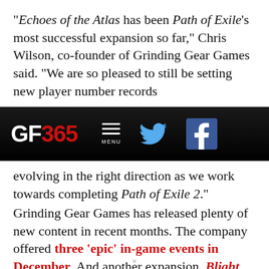“Echoes of the Atlas has been Path of Exile’s most successful expansion so far,” Chris Wilson, co-founder of Grinding Gear Games said. “We are so pleased to still be setting new player number records
[Figure (screenshot): GF365 navigation bar with logo, hamburger menu, Twitter and Facebook icons on dark background]
evolving in the right direction as we work towards completing Path of Exile 2.”
Grinding Gear Games has released plenty of new content in recent months. The company offered three ‘epic’ in-game events in December. And another expansion, Blight, came out back in September 2019